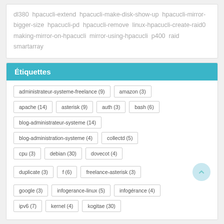dl380 hpacucli-extend hpacucli-make-disk-show-up hpacucli-mirror-bigger-size hpacucli-pd hpacucli-remove linux-hpacucli-create-raid0 making-mirror-on-hpacucli mirror-using-hpacucli p400 raid smartarray
Étiquettes
administrateur-systeme-freelance (9)
amazon (3)
apache (14)
asterisk (9)
auth (3)
bash (6)
blog-administrateur-systeme (14)
blog-administration-systeme (4)
collectd (5)
cpu (3)
debian (30)
dovecot (4)
duplicate (3)
f (6)
freelance-asterisk (3)
google (3)
infogerance-linux (5)
infogérance (4)
ipv6 (7)
kernel (4)
kogitae (30)